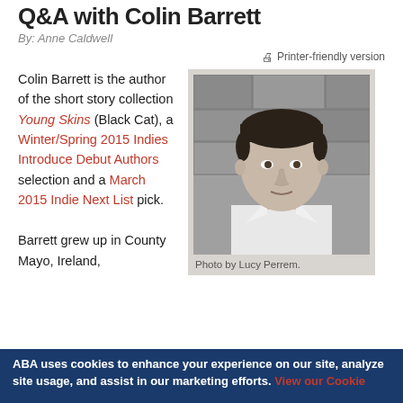Q&A with Colin Barrett
By: Anne Caldwell
Printer-friendly version
Colin Barrett is the author of the short story collection Young Skins (Black Cat), a Winter/Spring 2015 Indies Introduce Debut Authors selection and a March 2015 Indie Next List pick.
[Figure (photo): Black and white portrait photo of Colin Barrett, a young man in a white shirt, against a stone wall background. Caption: Photo by Lucy Perrem.]
Photo by Lucy Perrem.
Barrett grew up in County Mayo, Ireland,
ABA uses cookies to enhance your experience on our site, analyze site usage, and assist in our marketing efforts. View our Cookie